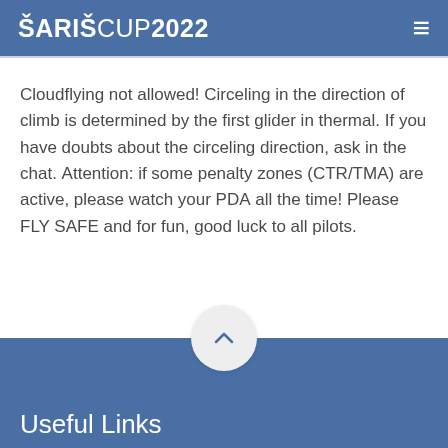ŠARIŠCUP2022
Cloudflying not allowed! Circeling in the direction of climb is determined by the first glider in thermal. If you have doubts about the circeling direction, ask in the chat. Attention: if some penalty zones (CTR/TMA) are active, please watch your PDA all the time! Please FLY SAFE and for fun, good luck to all pilots.
Useful Links